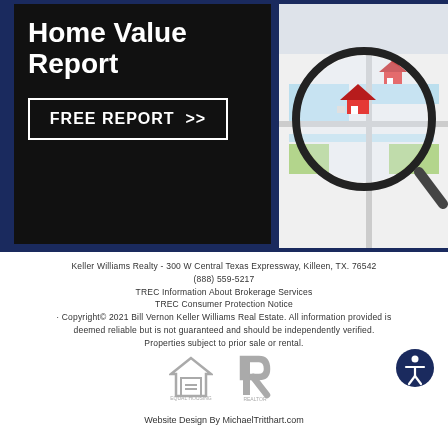Home Value Report
FREE REPORT >>
[Figure (illustration): Magnifying glass over a colorful map with a miniature house, illustrating home value search concept]
Keller Williams Realty - 300 W Central Texas Expressway, Killeen, TX. 76542
(888) 559-5217
TREC Information About Brokerage Services
TREC Consumer Protection Notice
Copyright© 2021 Bill Vernon Keller Williams Real Estate. All information provided is deemed reliable but is not guaranteed and should be independently verified. Properties subject to prior sale or rental.
Website Design By MichaelTritthart.com